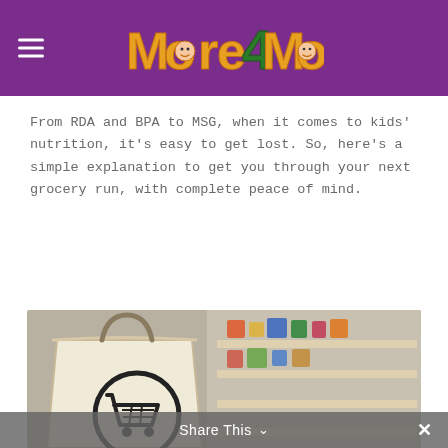More4Momz — website header with logo and hamburger menu
From RDA and BPA to MSG, when it comes to kids' nutrition, it's easy to get lost. So, here's a simple explanation to get you through your next grocery run, with complete peace of mind.
[Figure (photo): Grocery shopping bag (canvas tote with shopping cart icon) in foreground, blurred store shelves with colourful products in background]
Share This ∨  ✕